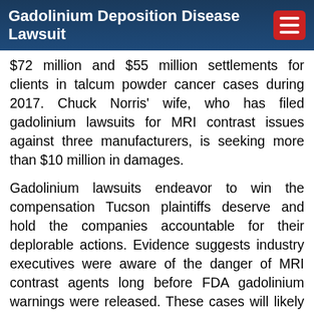Gadolinium Deposition Disease Lawsuit
$72 million and $55 million settlements for clients in talcum powder cancer cases during 2017. Chuck Norris' wife, who has filed gadolinium lawsuits for MRI contrast issues against three manufacturers, is seeking more than $10 million in damages.
Gadolinium lawsuits endeavor to win the compensation Tucson plaintiffs deserve and hold the companies accountable for their deplorable actions. Evidence suggests industry executives were aware of the danger of MRI contrast agents long before FDA gadolinium warnings were released. These cases will likely be consolidated as multidistrict litigation (MDL), a legal procedure that allows similar cases to be resolved at once, while still preserving the unique details of each case. Settlements are determined based on the individual details of each case and the type and degree of suffering of each plaintiff.
Our attorneys provide Tucson families with legal